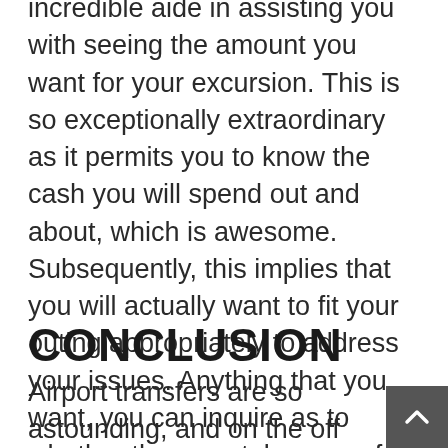Heathrow airport transfer can be an incredible aide in assisting you with seeing the amount you want for your excursion. This is so exceptionally extraordinary as it permits you to know the cash you will spend out and about, which is awesome. Subsequently, this implies that you will actually want to fit your outing appropriately to address your issues. Anything that you want, you can inquire as to whether they can take care of you. Heathrow Taxis Airport Transfer
CONCLUSION
Airport transfers are so astounding, and on the off chance that you plan as needs